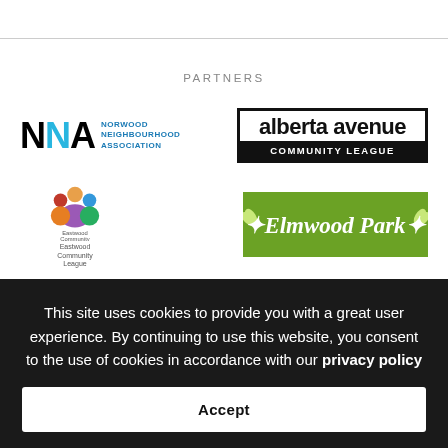PARTNERS
[Figure (logo): NNA - Norwood Neighbourhood Association logo]
[Figure (logo): Alberta Avenue Community League logo]
[Figure (logo): Eastwood Community League logo]
[Figure (logo): Elmwood Park logo - green background with italic white text]
This site uses cookies to provide you with a great user experience. By continuing to use this website, you consent to the use of cookies in accordance with our privacy policy
Accept